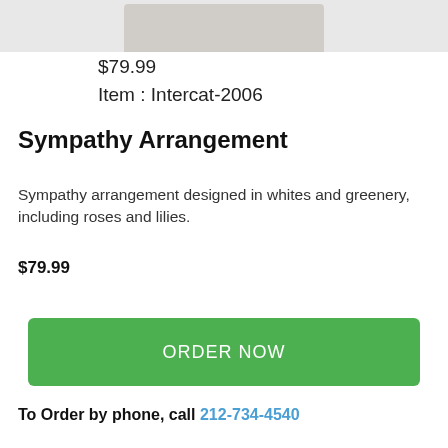[Figure (photo): Partial view of a sympathy floral arrangement in whites and greenery, cropped at top of page]
$79.99
Item : Intercat-2006
Sympathy Arrangement
Sympathy arrangement designed in whites and greenery, including roses and lilies.
$79.99
ORDER NOW
To Order by phone, call 212-734-4540